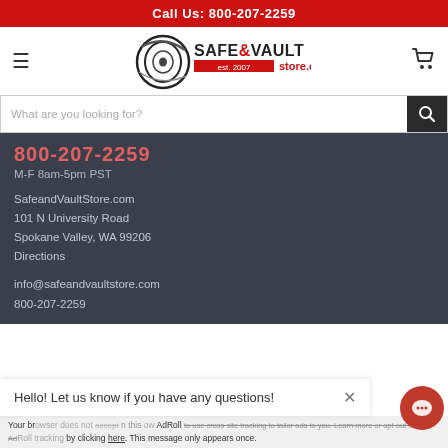Call Us: 800-207-2259
[Figure (logo): Safe & Vault Store.com logo with circular vault door icon, est. 2007]
What are you looking for?
800-207-2259
M-F 8am-5pm PST
SafeandVaultStore.com
101 N University Road
Spokane Valley, WA 99206
Directions
info@safeandvaultstore.com
800-207-2259
Hello! Let us know if you have any questions!
Your browser does not support AdRoll to use cross site tracking to tailor ads to you. Learn more or opt out of this AdRoll tracking by clicking here. This message only appears once.